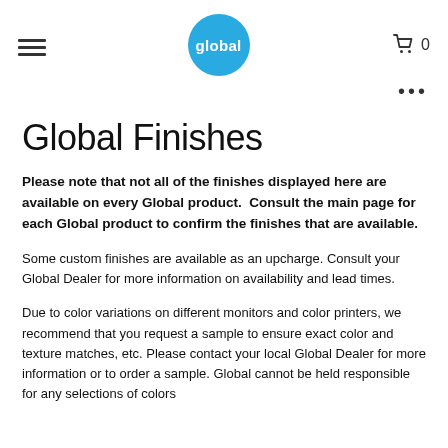global
Global Finishes
Please note that not all of the finishes displayed here are available on every Global product.  Consult the main page for each Global product to confirm the finishes that are available.
Some custom finishes are available as an upcharge. Consult your Global Dealer for more information on availability and lead times.
Due to color variations on different monitors and color printers, we recommend that you request a sample to ensure exact color and texture matches, etc. Please contact your local Global Dealer for more information or to order a sample. Global cannot be held responsible for any selections of colors from the monitors.